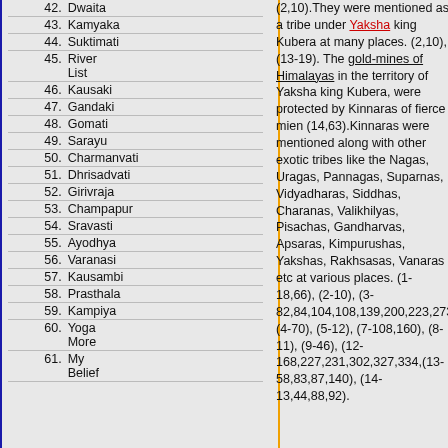| # | Name |
| --- | --- |
| 42. | Dwaita |
| 43. | Kamyaka |
| 44. | Suktimati |
| 45. | River List |
| 46. | Kausaki |
| 47. | Gandaki |
| 48. | Gomati |
| 49. | Sarayu |
| 50. | Charmanvati |
| 51. | Dhrisadvati |
| 52. | Girivraja |
| 53. | Champapur |
| 54. | Sravasti |
| 55. | Ayodhya |
| 56. | Varanasi |
| 57. | Kausambi |
| 58. | Prasthala |
| 59. | Kampiya |
| 60. | Yoga More |
| 61. | My Belief |
(2,10).They were mentioned as a tribe under Yaksha king Kubera at many places. (2,10), (13-19). The gold-mines of Himalayas in the territory of Yaksha king Kubera, were protected by Kinnaras of fierce mien (14,63).Kinnaras were mentioned along with other exotic tribes like the Nagas, Uragas, Pannagas, Suparnas, Vidyadharas, Siddhas, Charanas, Valikhilyas, Pisachas, Gandharvas, Apsaras, Kimpurushas, Yakshas, Rakhsasas, Vanaras etc at various places. (1-18,66), (2-10), (3-82,84,104,108,139,200,223,273) (4-70), (5-12), (7-108,160), (8-11), (9-46), (12-168,227,231,302,327,334,(13-58,83,87,140), (14-13,44,88,92).
Culture and Habbits
Kinnaras were mentioned as to have the habbit of drinking (Soma ?) at (1,70). Here they were mentioned along with the Siddhas, Charanas, Gandharvas, Apsaras and Vanaras. They were seen by the Puru king Dushmantha (Dushyanta) in a forest where his would-be wife Sakuntala lived. In that forest on the banks of a river called Malini (Ganga?) he saw the habitations of Kinnaras. He also saw Yotis (Yati is a modern-day-mystery, in the Himalayas) and the Valikhilyas.Like the Gandharvas and Apsaras, who were well-skilled in vocal and instrumental music and in cadence, Kinnaras also were well-versed in